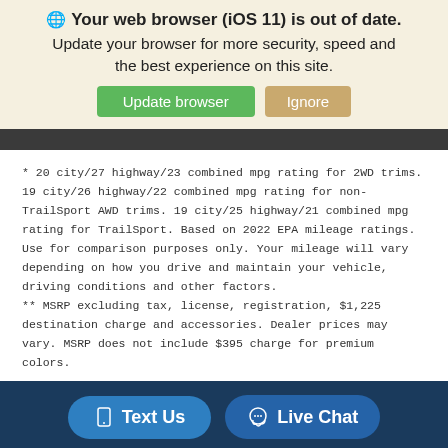🌐 Your web browser (iOS 11) is out of date. Update your browser for more security, speed and the best experience on this site.
[Figure (screenshot): Two buttons: 'Update browser' (green) and 'Ignore' (tan/gold)]
* 20 city/27 highway/23 combined mpg rating for 2WD trims. 19 city/26 highway/22 combined mpg rating for non-TrailSport AWD trims. 19 city/25 highway/21 combined mpg rating for TrailSport. Based on 2022 EPA mileage ratings. Use for comparison purposes only. Your mileage will vary depending on how you drive and maintain your vehicle, driving conditions and other factors.
** MSRP excluding tax, license, registration, $1,225 destination charge and accessories. Dealer prices may vary. MSRP does not include $395 charge for premium colors.
[Figure (screenshot): Two CTA buttons on dark navy background: 'Text Us' (medium blue, rounded) and 'Live Chat' (darker blue, rounded)]
About U
Search   Contact   Glovebox   [Accessibility]